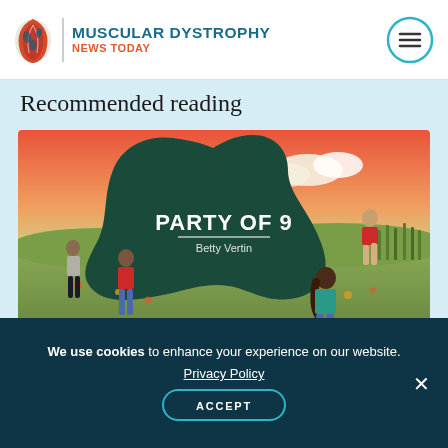MUSCULAR DYSTROPHY NEWS TODAY
Recommended reading
[Figure (illustration): Book cover illustration for 'Party of 9' by Betty Vertin showing illustrated people in a field with a dark green organic shape, orange sky, and scattered flowers]
We use cookies to enhance your experience on our website.
Privacy Policy
ACCEPT